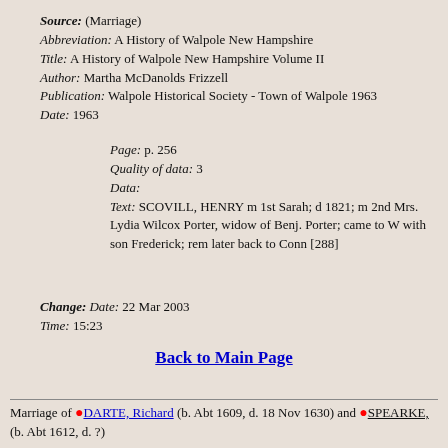Source: (Marriage)
Abbreviation: A History of Walpole New Hampshire
Title: A History of Walpole New Hampshire Volume II
Author: Martha McDanolds Frizzell
Publication: Walpole Historical Society - Town of Walpole 1963
Date: 1963
Page: p. 256
Quality of data: 3
Data:
Text: SCOVILL, HENRY m 1st Sarah; d 1821; m 2nd Mrs. Lydia Wilcox Porter, widow of Benj. Porter; came to W with son Frederick; rem later back to Conn [288]
Change: Date: 22 Mar 2003
Time: 15:23
Back to Main Page
Marriage of DARTE, Richard (b. Abt 1609, d. 18 Nov 1630) and SPEARKE, (b. Abt 1612, d. ?)